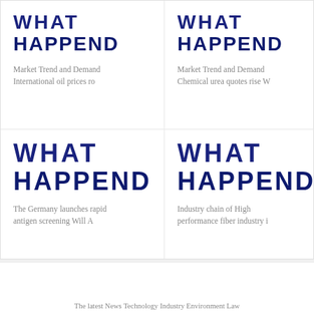[Figure (illustration): WHAT HAPPEND logo - top left card with text 'Market Trend and Demand International oil prices ro']
Market Trend and Demand International oil prices ro
[Figure (illustration): WHAT HAPPEND logo - top right card with text 'Market Trend and Demand Chemical urea quotes rise W']
Market Trend and Demand Chemical urea quotes rise W
[Figure (illustration): WHAT HAPPEND logo - bottom left card with text 'The Germany launches rapid antigen screening Will A']
The Germany launches rapid antigen screening Will A
[Figure (illustration): WHAT HAPPEND logo - bottom right card with text 'Industry chain of High performance fiber industry i']
Industry chain of High performance fiber industry i
The latest News Technology Industry Environment Law